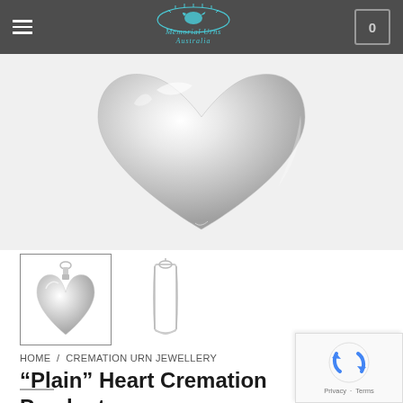Memorial Urns Australia
[Figure (photo): Close-up of a silver heart-shaped cremation pendant, showing smooth metallic surface with highlighted reflections]
[Figure (photo): Thumbnail: silver heart cremation pendant on chain]
[Figure (photo): Thumbnail: silver snake chain necklace]
HOME / CREMATION URN JEWELLERY
“Plain” Heart Cremation Pendant